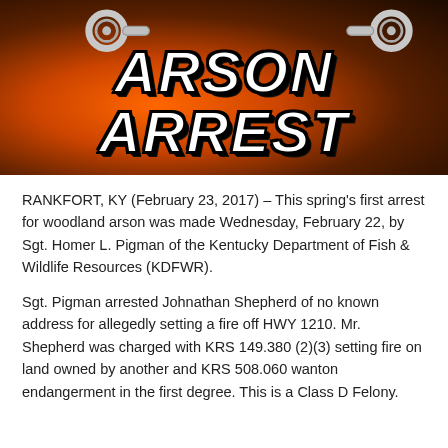[Figure (illustration): Arson Arrest graphic banner image showing handcuffs and fire imagery with bold italic text reading ARSON ARREST]
RANKFORT, KY (February 23, 2017) – This spring's first arrest for woodland arson was made Wednesday, February 22, by Sgt. Homer L. Pigman of the Kentucky Department of Fish & Wildlife Resources (KDFWR).
Sgt. Pigman arrested Johnathan Shepherd of no known address for allegedly setting a fire off HWY 1210. Mr. Shepherd was charged with KRS 149.380 (2)(3) setting fire on land owned by another and KRS 508.060 wanton endangerment in the first degree. This is a Class D Felony.